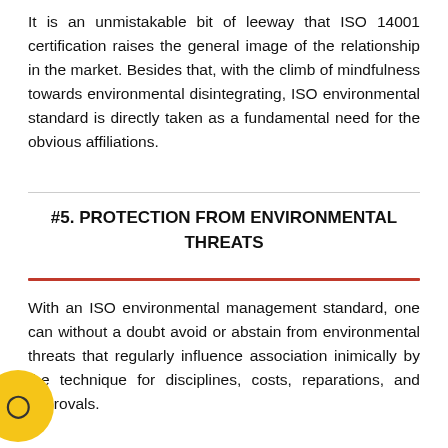It is an unmistakable bit of leeway that ISO 14001 certification raises the general image of the relationship in the market. Besides that, with the climb of mindfulness towards environmental disintegrating, ISO environmental standard is directly taken as a fundamental need for the obvious affiliations.
#5. PROTECTION FROM ENVIRONMENTAL THREATS
With an ISO environmental management standard, one can without a doubt avoid or abstain from environmental threats that regularly influence association inimically by the technique for disciplines, costs, reparations, and approvals.